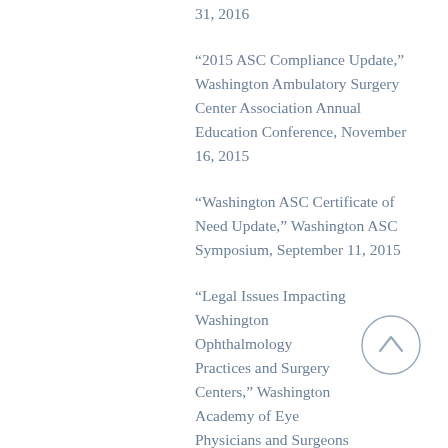31, 2016
“2015 ASC Compliance Update,” Washington Ambulatory Surgery Center Association Annual Education Conference, November 16, 2015
“Washington ASC Certificate of Need Update,” Washington ASC Symposium, September 11, 2015
“Legal Issues Impacting Washington Ophthalmology Practices and Surgery Centers,” Washington Academy of Eye Physicians and Surgeons Practice Management Meeting, March 19, 2…
“Washington ASC Compliance Update,” Washington Ambulatory Surgery Center Association, September 18, 2014